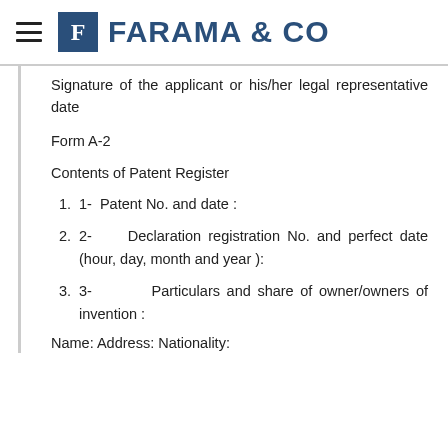FARAMA & CO
Signature of the applicant or his/her legal representative date
Form A-2
Contents of Patent Register
1-  Patent No. and date :
2-     Declaration registration No. and perfect date (hour, day, month and year):
3-         Particulars and share of owner/owners of invention :
Name: Address: Nationality: